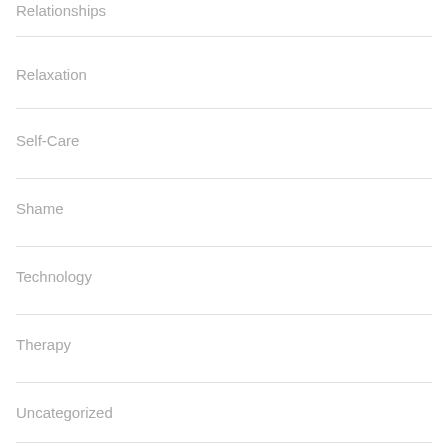Relationships
Relaxation
Self-Care
Shame
Technology
Therapy
Uncategorized